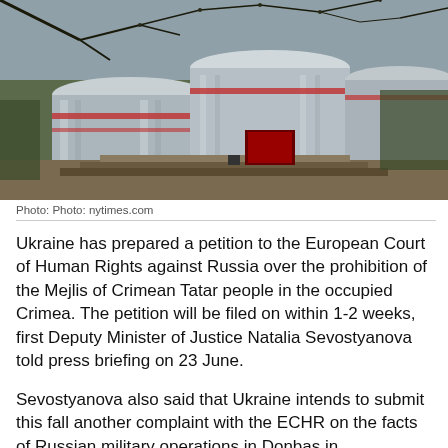[Figure (photo): Exterior of the European Court of Human Rights building in Strasbourg, with distinctive cylindrical glass towers, shot through bare tree branches in the foreground.]
Photo: Photo: nytimes.com
Ukraine has prepared a petition to the European Court of Human Rights against Russia over the prohibition of the Mejlis of Crimean Tatar people in the occupied Crimea. The petition will be filed on within 1-2 weeks, first Deputy Minister of Justice Natalia Sevostyanova told press briefing on 23 June.
Sevostyanova also said that Ukraine intends to submit this fall another complaint with the ECHR on the facts of Russian military operations in Donbas in...